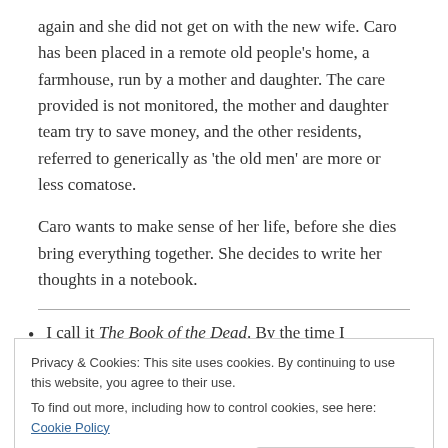again and she did not get on with the new wife. Caro has been placed in a remote old people's home, a farmhouse, run by a mother and daughter. The care provided is not monitored, the mother and daughter team try to save money, and the other residents, referred to generically as 'the old men' are more or less comatose.
Caro wants to make sense of her life, before she dies bring everything together. She decides to write her thoughts in a notebook.
I call it The Book of the Dead. By the time I
Privacy & Cookies: This site uses cookies. By continuing to use this website, you agree to their use.
To find out more, including how to control cookies, see here: Cookie Policy